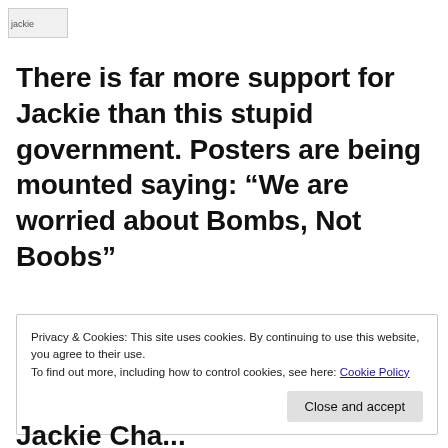[Figure (logo): jackie logo/image placeholder in top left corner]
There is far more support for Jackie than this stupid government. Posters are being mounted saying: “We are worried about Bombs, Not Boobs”
Privacy & Cookies: This site uses cookies. By continuing to use this website, you agree to their use.
To find out more, including how to control cookies, see here: Cookie Policy
Close and accept
Jackie Cha...